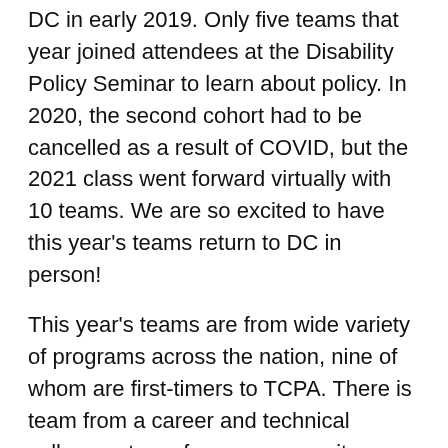DC in early 2019. Only five teams that year joined attendees at the Disability Policy Seminar to learn about policy. In 2020, the second cohort had to be cancelled as a result of COVID, but the 2021 class went forward virtually with 10 teams. We are so excited to have this year's teams return to DC in person!
This year's teams are from wide variety of programs across the nation, nine of whom are first-timers to TCPA. There is team from a career and technical college, a team from a community college, two teams from brand new inclusive programs in their first year in existence, and a team from one of the largest and most established programs. Chosen through a competitive process, there are teams from California, Florida, Illinois, Louisiana, Maryland, Nevada, New York, Pennsylvania, South Carolina, and Washington. (Read more about the teams in this article.) And the students include program alumni, current students, and recent (as in last week!) graduates. They are as diverse as any college students – coming from a variety of ethnic and